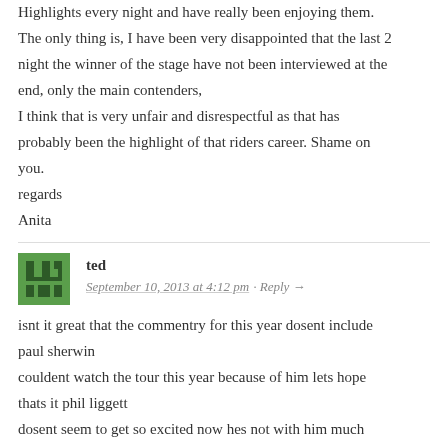Highlights every night and have really been enjoying them. The only thing is, I have been very disappointed that the last 2 night the winner of the stage have not been interviewed at the end, only the main contenders,
I think that is very unfair and disrespectful as that has probably been the highlight of that riders career. Shame on you.
regards
Anita
ted
September 10, 2013 at 4:12 pm · Reply →
isnt it great that the commentry for this year dosent include paul sherwin
couldent watch the tour this year because of him lets hope thats it phil liggett
dosent seem to get so excited now hes not with him much more enjoyable to listen too